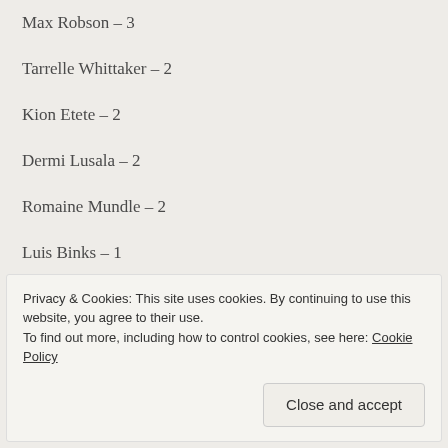Max Robson – 3
Tarrelle Whittaker – 2
Kion Etete – 2
Dermi Lusala – 2
Romaine Mundle – 2
Luis Binks – 1
Michael Craig – 1
Eddie Carrington – 1
Privacy & Cookies: This site uses cookies. By continuing to use this website, you agree to their use. To find out more, including how to control cookies, see here: Cookie Policy